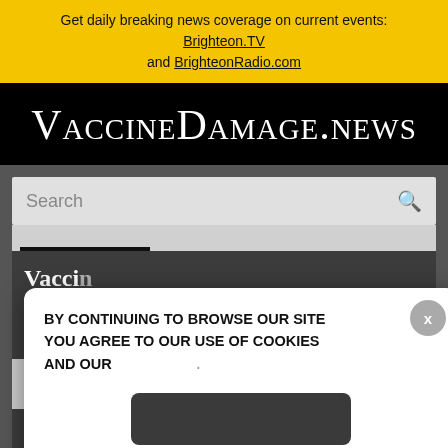Get daily breaking news coverage on current events: Brighteon.TV and BrighteonRadio.com
VaccineDamage.news
Search
Vaccine injuries nation
Enter Your Email Address
05/09/202
[Figure (screenshot): Cookie consent popup overlay with text: BY CONTINUING TO BROWSE OUR SITE YOU AGREE TO OUR USE OF COOKIES AND OUR, with X close button and dark accept button]
Social share buttons: Twitter, Plus, Heart, Email, Print